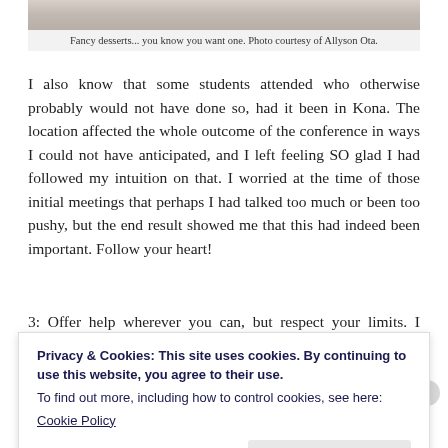[Figure (photo): Top portion of a photo showing fancy desserts, partially cropped at top of page]
Fancy desserts... you know you want one. Photo courtesy of Allyson Ota.
I also know that some students attended who otherwise probably would not have done so, had it been in Kona. The location affected the whole outcome of the conference in ways I could not have anticipated, and I left feeling SO glad I had followed my intuition on that. I worried at the time of those initial meetings that perhaps I had talked too much or been too pushy, but the end result showed me that this had indeed been important. Follow your heart!
3: Offer help wherever you can, but respect your limits. I freely
Privacy & Cookies: This site uses cookies. By continuing to use this website, you agree to their use.
To find out more, including how to control cookies, see here:
Cookie Policy
Close and accept